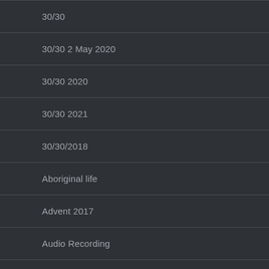30/30
30/30 2 May 2020
30/30 2020
30/30 2021
30/30/2018
Aboriginal life
Advent 2017
Audio Recording
Collaborations
craftsmanship
essay